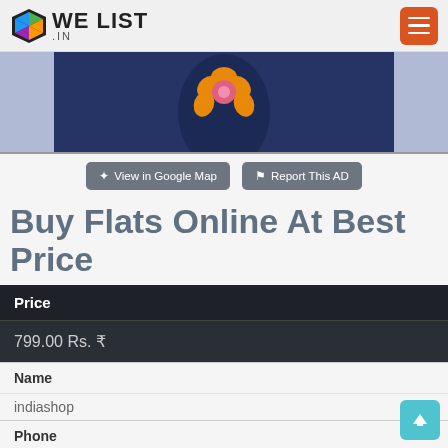WE LIST .IN
[Figure (photo): Product photo showing a crocheted flower accessory (pink and orange) on a dark navy blue background, partially cropped]
View in Google Map | Report This AD
Buy Flats Online At Best Price
| Price |
| --- |
| 799.00 Rs. ₹ |
| Name |  |
| indiashop |  |
| Phone |  |
| 9205468820 |  |